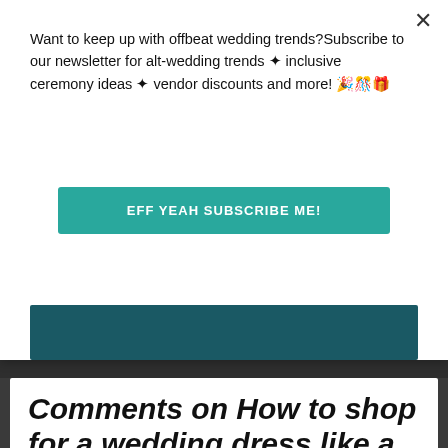Want to keep up with offbeat wedding trends?Subscribe to our newsletter for alt-wedding trends ✦ inclusive ceremony ideas ✦ vendor discounts and more! 🎉🎊🎁
EFF YEAH SUBSCRIBE ME!
Comments on How to shop for a wedding dress like a software engineer